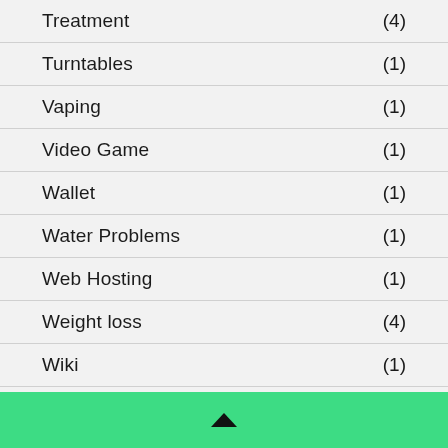Treatment (4)
Turntables (1)
Vaping (1)
Video Game (1)
Wallet (1)
Water Problems (1)
Web Hosting (1)
Weight loss (4)
Wiki (1)
^